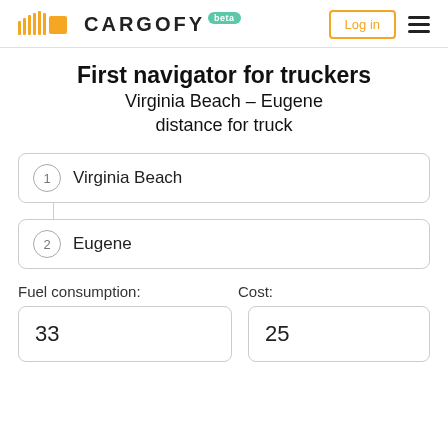CARGOFY beta | Log in
First navigator for truckers
Virginia Beach – Eugene distance for truck
1 Virginia Beach
2 Eugene
Fuel consumption:
Cost:
33
25